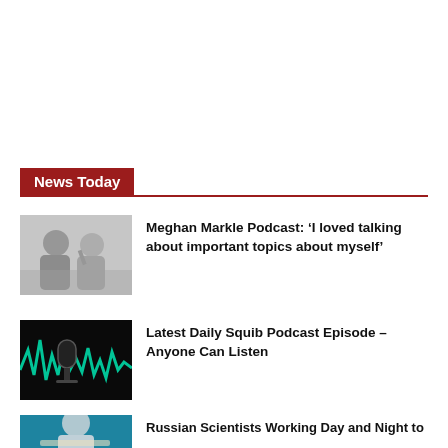News Today
[Figure (photo): Black and white photo of two women, one taking a selfie]
Meghan Markle Podcast: ‘I loved talking about important topics about myself’
[Figure (photo): Podcast microphone with green audio waveform on dark background]
Latest Daily Squib Podcast Episode – Anyone Can Listen
[Figure (photo): Man in blue/teal background, partial view]
Russian Scientists Working Day and Night to